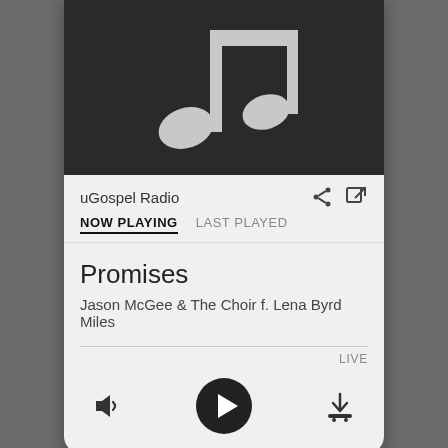[Figure (illustration): Music app album art placeholder: dark background with two gray musical note symbols]
uGospel Radio
[Figure (other): Share icon and external link icon in top right]
NOW PLAYING   LAST PLAYED
Promises
Jason McGee & The Choir f. Lena Byrd Miles
LIVE
[Figure (other): Media player controls: volume icon on left, play button in center, download/add icon on right]